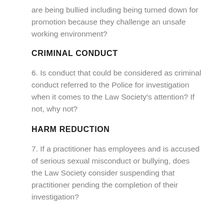are being bullied including being turned down for promotion because they challenge an unsafe working environment?
CRIMINAL CONDUCT
6. Is conduct that could be considered as criminal conduct referred to the Police for investigation when it comes to the Law Society's attention? If not, why not?
HARM REDUCTION
7. If a practitioner has employees and is accused of serious sexual misconduct or bullying, does the Law Society consider suspending that practitioner pending the completion of their investigation?